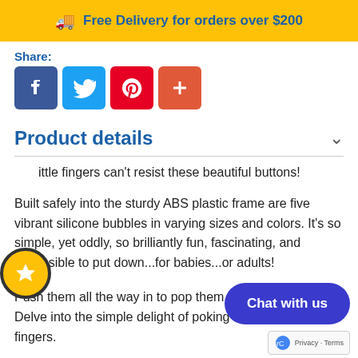🚚 Free Delivery for orders over $200
Share:
[Figure (screenshot): Social share buttons: Facebook (blue), Twitter (light blue), Pinterest (red), plus/more (orange-red)]
Product details
Little fingers can't resist these beautiful buttons!
Built safely into the sturdy ABS plastic frame are five vibrant silicone bubbles in varying sizes and colors. It's so simple, yet oddly, so brilliantly fun, fascinating, and impossible to put down...for babies...or adults!
Push them all the way in to pop them out the other side. Delve into the simple delight of poking them with your fingers.